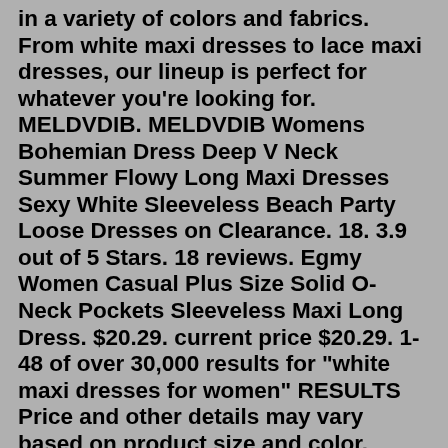in a variety of colors and fabrics. From white maxi dresses to lace maxi dresses, our lineup is perfect for whatever you're looking for. MELDVDIB. MELDVDIB Womens Bohemian Dress Deep V Neck Summer Flowy Long Maxi Dresses Sexy White Sleeveless Beach Party Loose Dresses on Clearance. 18. 3.9 out of 5 Stars. 18 reviews. Egmy Women Casual Plus Size Solid O-Neck Pockets Sleeveless Maxi Long Dress. $20.29. current price $20.29. 1-48 of over 30,000 results for "white maxi dresses for women" RESULTS Price and other details may vary based on product size and color. PRETTYGARDEN Women's Cross Neck Summer Sleeveless Tiered Maxi Dress Beach Tie Strap Smocked Long Dresses Pleated Sundress 126 -14%$4398$50.98 FREE Shipping by Amazon Prime Try Before You Buy +14 ANRABESSThe women's modest floral maxi dress is absolutely stunning! Create your own beautiful memories when you add it to your wardrobe. ... Maxi Dresses. Filter . Price Low to High. $20.00 - $39.99 (92) $40.00 and above (4) ... Floral White V-neck